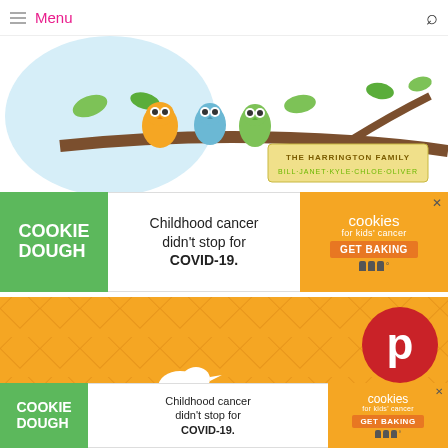Menu
[Figure (illustration): Colorful cartoon owls sitting on a brown tree branch with green leaves. A label reads 'THE HARRINGTON FAMILY' with names 'BILL · JANET · KYLE · CHLOE · OLIVER' below in green text.]
[Figure (infographic): Cookie Dough advertisement banner: green section with 'COOKIE DOUGH' text, white section with 'Childhood cancer didn't stop for COVID-19.', orange section with 'cookies for kids' cancer GET BAKING' logo and close button.]
[Figure (illustration): Orange patterned background (quilted diamond pattern) with two white bird silhouettes and a Pinterest logo (red circle with white P) in the upper right corner.]
[Figure (infographic): Sticky bottom ad: Cookie Dough advertisement banner repeated — green 'COOKIE DOUGH', white 'Childhood cancer didn't stop for COVID-19.', orange 'cookies for kids' cancer GET BAKING'.]